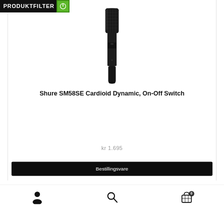PRODUKTFILTER
[Figure (photo): Black Shure SM58SE Cardioid Dynamic microphone with On-Off Switch, shown vertically against white background]
Shure SM58SE Cardioid Dynamic, On-Off Switch
kr 1.695
Bestillingsvare